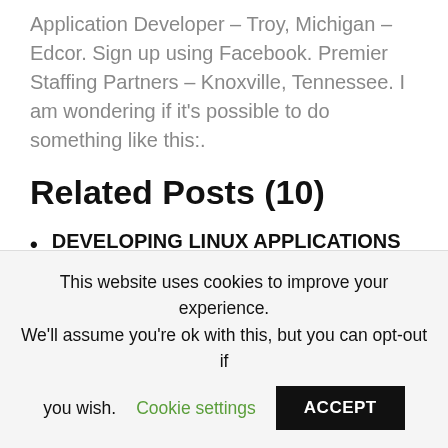Application Developer – Troy, Michigan – Edcor. Sign up using Facebook. Premier Staffing Partners – Knoxville, Tennessee. I am wondering if it's possible to do something like this:.
Related Posts (10)
DEVELOPING LINUX APPLICATIONS WITH GTK AND GDK PDF
ANIMA BEYOND FANTASY DOMINUS EXXET ENGLISH PDF
2012 AMC 10B PROBLEMS PDF
74373 DATASHEET PDF
This website uses cookies to improve your experience. We'll assume you're ok with this, but you can opt-out if you wish. Cookie settings ACCEPT